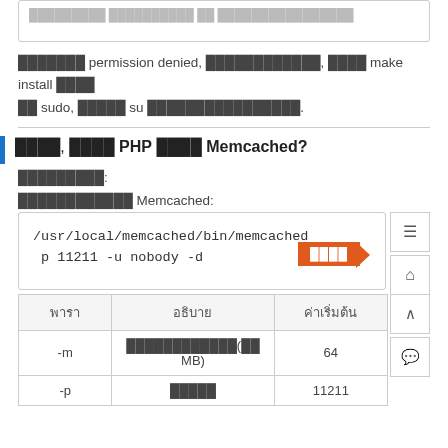permission denied, ที่นี่ก็ make install ด้วย sudo, หรือใช้ su แทนตามความเหมาะสม.
อีกวิธี, ใช้ PHP ร่วมกับ Memcached?
พารามิเตอร์:
การเริ่มต้น Memcached:
[Figure (screenshot): Code block showing: /usr/local/memcached/bin/memcached with orange button overlay and side icon buttons]
| พารา | อธิบาย | ค่าเริ่มต้น |
| --- | --- | --- |
| -m | หน่วยความจำ(เป็น MB) | 64 |
| -p | พอร์ต | 11211 |